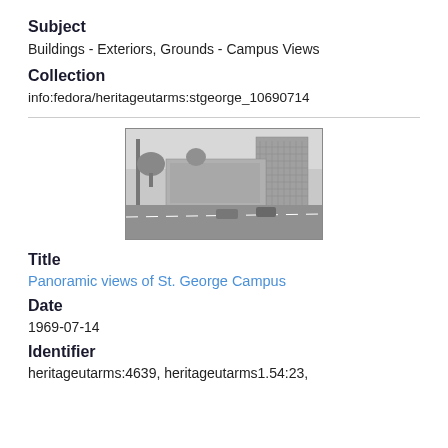Subject
Buildings - Exteriors, Grounds - Campus Views
Collection
info:fedora/heritageutarms:stgeorge_10690714
[Figure (photo): Black and white panoramic photograph of St. George Campus, showing buildings including a tall multi-story structure, street with cars, and trees.]
Title
Panoramic views of St. George Campus
Date
1969-07-14
Identifier
heritageutarms:4639, heritageutarms1.54:23,